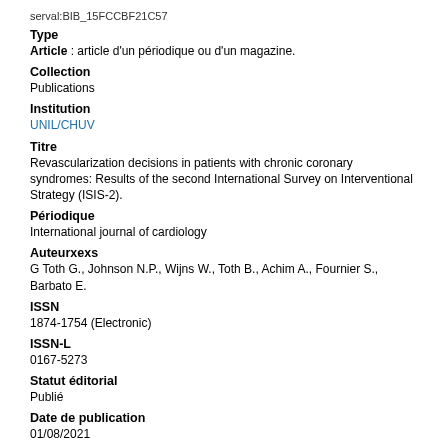serval:BIB_15FCCBF21C57
Type
Article: article d'un périodique ou d'un magazine.
Collection
Publications
Institution
UNIL/CHUV
Titre
Revascularization decisions in patients with chronic coronary syndromes: Results of the second International Survey on Interventional Strategy (ISIS-2).
Périodique
International journal of cardiology
Auteurxexs
G Toth G., Johnson N.P., Wijns W., Toth B., Achim A., Fournier S., Barbato E.
ISSN
1874-1754 (Electronic)
ISSN-L
0167-5273
Statut éditorial
Publié
Date de publication
01/08/2021
Peer-reviewed
Oui